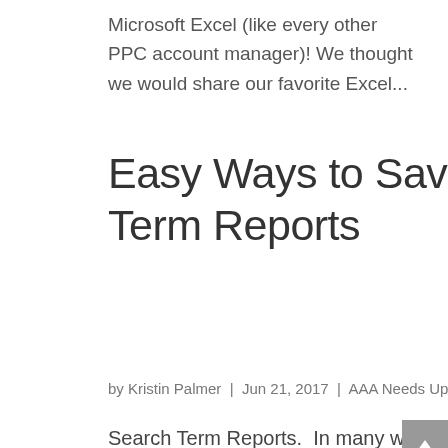Microsoft Excel (like every other PPC account manager)! We thought we would share our favorite Excel...
Easy Ways to Save Time Reviewing Search Term Reports
by Kristin Palmer | Jun 21, 2017 | AAA Needs Updating, Efficiency, Excel Strategies, Uncategorized
Search Term Reports.  In many ways, they are the backbone to the life and health of a PPC account.  They reveal to you how Google is interpreting your phrase and